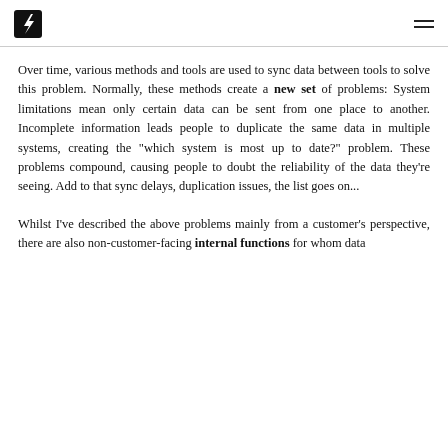[Logo: lightning bolt P icon] [hamburger menu]
Over time, various methods and tools are used to sync data between tools to solve this problem. Normally, these methods create a new set of problems: System limitations mean only certain data can be sent from one place to another. Incomplete information leads people to duplicate the same data in multiple systems, creating the "which system is most up to date?" problem. These problems compound, causing people to doubt the reliability of the data they're seeing. Add to that sync delays, duplication issues, the list goes on...
Whilst I've described the above problems mainly from a customer's perspective, there are also non-customer-facing internal functions for whom data